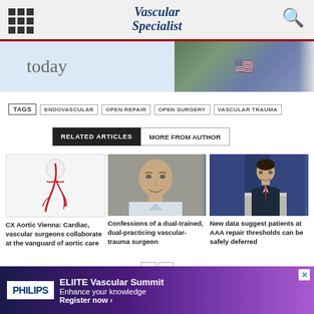Vascular Specialist
[Figure (screenshot): Website banner showing 'today' text on light blue background and a US-flag themed image]
TAGS  ENDOVASCULAR  OPEN REPAIR  OPEN SURGERY  VASCULAR TRAUMA
RELATED ARTICLES  MORE FROM AUTHOR
[Figure (illustration): Aortic anatomy illustration with red vascular tree on white background]
CX Aortic Vienna: Cardiac, vascular surgeons collaborate at the vanguard of aortic care
[Figure (photo): Headshot of a bald male physician in white coat, smiling]
Confessions of a dual-trained, dual-practicing vascular-trauma surgeon
[Figure (photo): Man in dark suit speaking at SVS Society for Vascular Surgery podium]
New data suggest patients at AAA repair thresholds can be safely deferred
[Figure (other): PHILIPS ELIITE Vascular Summit advertisement — Enhance your knowledge, Register now]